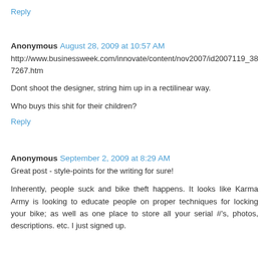Reply
Anonymous  August 28, 2009 at 10:57 AM
http://www.businessweek.com/innovate/content/nov2007/id2007119_387267.htm
Dont shoot the designer, string him up in a rectilinear way.
Who buys this shit for their children?
Reply
Anonymous  September 2, 2009 at 8:29 AM
Great post - style-points for the writing for sure!
Inherently, people suck and bike theft happens. It looks like Karma Army is looking to educate people on proper techniques for locking your bike; as well as one place to store all your serial #'s, photos, descriptions. etc. I just signed up.